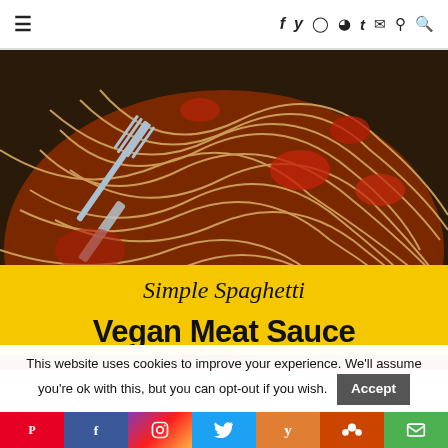≡  f y ⊙ ℗ t ✉ ♂ 🔍
[Figure (photo): Close-up photo of spaghetti with red tomato meat sauce and a fork twirling noodles, with a yellow banner overlay reading 'Simple Spaghetti Vegan Meat Sauce']
Simple Spaghetti Vegan Meat Sauce
This website uses cookies to improve your experience. We'll assume you're ok with this, but you can opt-out if you wish. Accept
Pinterest | Facebook | Instagram | Twitter | Yummly | Reddit | Email